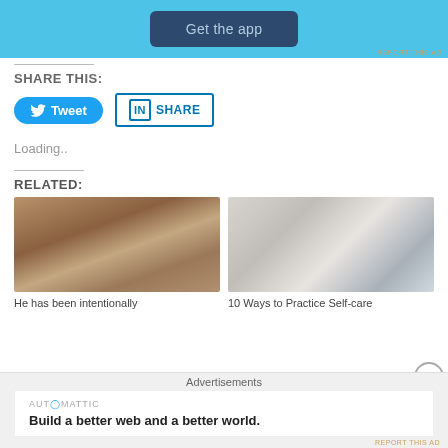[Figure (screenshot): Blue app advertisement banner with 'Get the app' button]
REPORT THIS AD
SHARE THIS:
[Figure (screenshot): Twitter Tweet button and LinkedIn Share button]
Loading..
RELATED:
[Figure (photo): Photo of a Black woman with braided hair looking at camera]
[Figure (photo): Photo of a woman with towel on head, holding a mirror]
He has been intentionally
10 Ways to Practice Self-care
Advertisements
[Figure (screenshot): Automattic advertisement: Build a better web and a better world.]
REPORT THIS AD